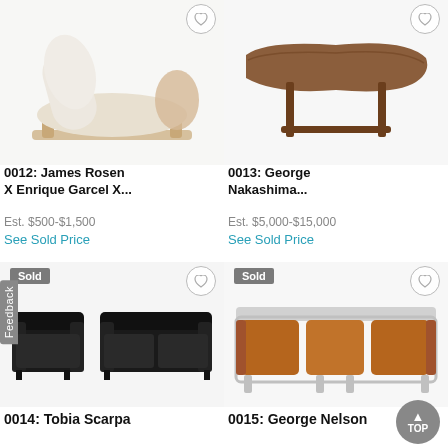[Figure (photo): White lounge chair with wooden frame by James Rosen X Enrique Garcel]
[Figure (photo): Wooden dining table by George Nakashima]
0012: James Rosen X Enrique Garcel X...
Est. $500-$1,500
See Sold Price
0013: George Nakashima...
Est. $5,000-$15,000
See Sold Price
[Figure (photo): Black leather sofa set (armchair and loveseat) by Tobia Scarpa, marked Sold]
[Figure (photo): Brown leather three-seat sofa by George Nelson, marked Sold]
0014: Tobia Scarpa
0015: George Nelson